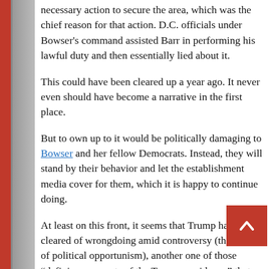necessary action to secure the area, which was the chief reason for that action. D.C. officials under Bowser's command assisted Barr in performing his lawful duty and then essentially lied about it.
This could have been cleared up a year ago. It never even should have become a narrative in the first place.
But to own up to it would be politically damaging to Bowser and her fellow Democrats. Instead, they will stand by their behavior and let the establishment media cover for them, which it is happy to continue doing.
At least on this front, it seems that Trump has been cleared of wrongdoing amid controversy (though not of political opportunism), another one of those “defining moments of the Trump presidency” that the media hangs its hat on.
If these sorts of admissions continue to come out, the door will be opened again for Trump moving forward.